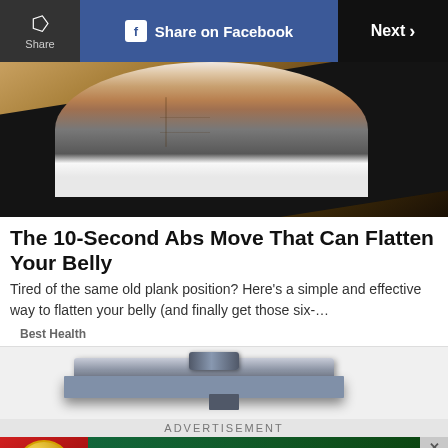Share | Share on Facebook | Next >
[Figure (photo): Person lying on a black yoga mat on a wooden floor, showing toned abdominal muscles, wearing grey shorts and white top.]
The 10-Second Abs Move That Can Flatten Your Belly
Tired of the same old plank position? Here’s a simple and effective way to flatten your belly (and finally get those six-…
Best Health
[Figure (photo): A digital kitchen or body weight scale, silver/grey in color, shown from above on a light background.]
ADVERTISEMENT
[Figure (photo): Advertisement banner for Bridge card game app. Left side red background with gold coin badge reading BRIDGE. Center green background with playing cards (8, A, J, K, S). Right side has close X button.]